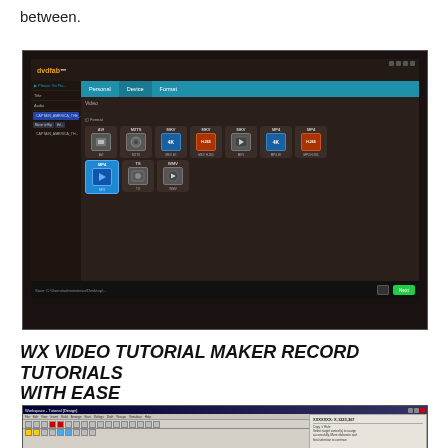between.
[Figure (screenshot): DVDFab software screenshot showing format selection panel with video format options including AVI, M2TS, MKV 4K, MKV H.265, MKV, MP4 4K, MP4 H.265, MP4 (selected), TS, WMV. Left sidebar shows file list with CAPTAIN_AMERICA_THE... file. Bottom bar shows file path and Next button.]
WX VIDEO TUTORIAL MAKER RECORD TUTORIALS WITH EASE
[Figure (screenshot): WX Video Tutorial Maker application screenshot showing the main interface with toolbars, drawing area, and a properties panel on the right side.]